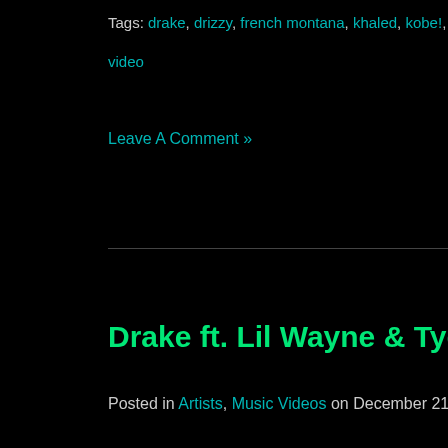Tags: drake, drizzy, french montana, khaled, kobe!, lickin shots, maybach m… video
Leave A Comment »
Drake ft. Lil Wayne & Tyga – The Motto (Rem…
Posted in Artists, Music Videos on December 21st, 2011 by Hyphen